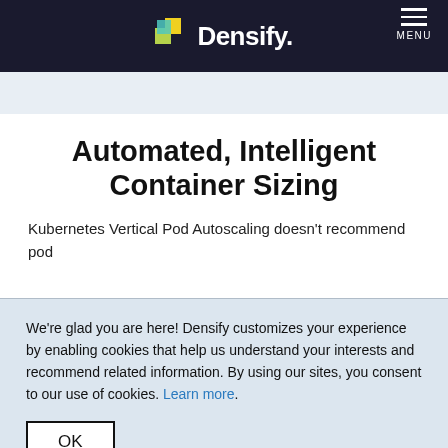Densify — MENU
Automated, Intelligent Container Sizing
Kubernetes Vertical Pod Autoscaling doesn't recommend pod
We're glad you are here! Densify customizes your experience by enabling cookies that help us understand your interests and recommend related information. By using our sites, you consent to our use of cookies. Learn more.
OK